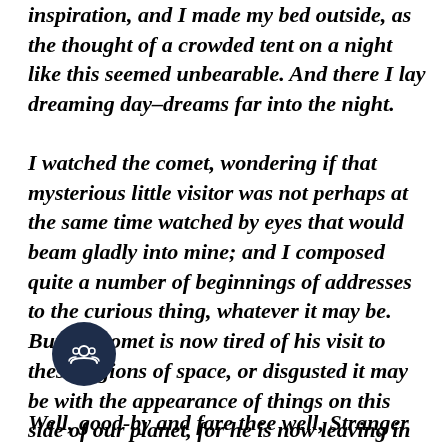inspiration, and I made my bed outside, as the thought of a crowded tent on a night like this seemed unbearable. And there I lay dreaming day-dreams far into the night.
I watched the comet, wondering if that mysterious little visitor was not perhaps at the same time watched by eyes that would beam gladly into mine; and I composed quite a number of beginnings of addresses to the curious thing, whatever it may be. But the comet is now tired of his visit to these regions of space, or disgusted it may be with the appearance of things on this side of our planet, for he is now leaving in seemingly greater haste than he came, with his tail between his legs, for the unknown regions out yonder.
Well, good-by and fare thee well, Stranger